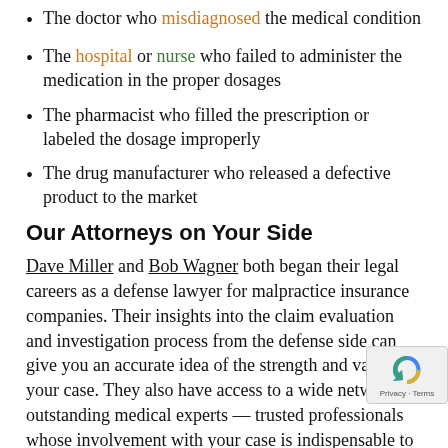The doctor who misdiagnosed the medical condition
The hospital or nurse who failed to administer the medication in the proper dosages
The pharmacist who filled the prescription or labeled the dosage improperly
The drug manufacturer who released a defective product to the market
Our Attorneys on Your Side
Dave Miller and Bob Wagner both began their legal careers as a defense lawyer for malpractice insurance companies. Their insights into the claim evaluation and investigation process from the defense side can give you an accurate idea of the strength and value of your case. They also have access to a wide network of outstanding medical experts — trusted professionals whose involvement with your case is indispensable to its su... In fact, Oregon and Washington doctors often call M... Wagner when they need advice about potential malpractice